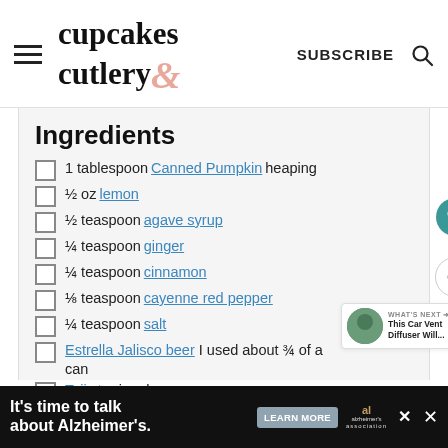cupcakes & cutlery — SUBSCRIBE
Ingredients
1 tablespoon Canned Pumpkin heaping
½ oz lemon
½ teaspoon agave syrup
¼ teaspoon ginger
¼ teaspoon cinnamon
⅛ teaspoon cayenne red pepper
¼ teaspoon salt
Estrella Jalisco beer I used about ¾ of a can
Tajin to rim glass
WHAT'S NEXT → This Car Vent Diffuser Will...
It's time to talk about Alzheimer's. LEARN MORE